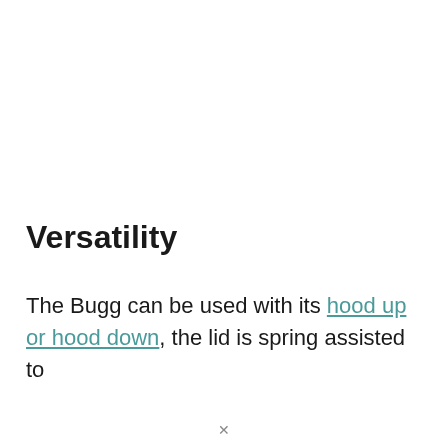Versatility
The Bugg can be used with its hood up or hood down, the lid is spring assisted to